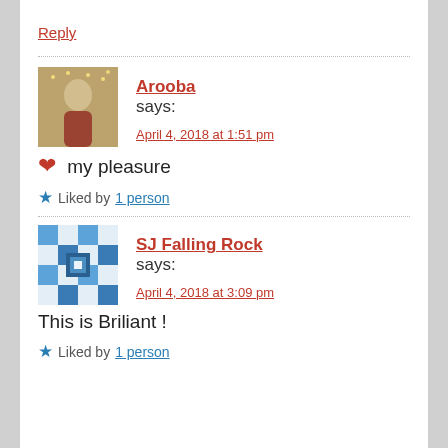Reply
Arooba says:
April 4, 2018 at 1:51 pm
❤ my pleasure
Liked by 1 person
SJ Falling Rock says:
April 4, 2018 at 3:09 pm
This is Briliant !
Liked by 1 person